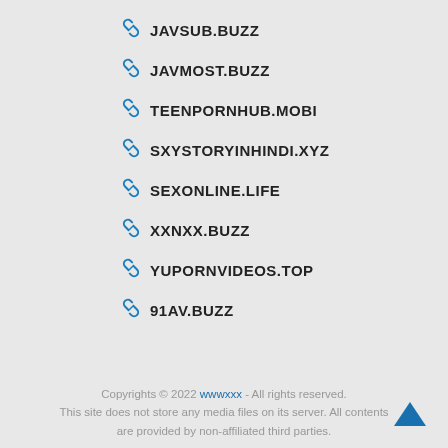JAVSUB.BUZZ
JAVMOST.BUZZ
TEENPORNHUB.MOBI
SXYSTORYINHINDI.XYZ
SEXONLINE.LIFE
XXNXX.BUZZ
YUPORNVIDEOS.TOP
91AV.BUZZ
Copyrights © 2022 wwwxxx - All rights reserved. This site does not store any media files on its server. All contents are provided by non-affiliated third parties.